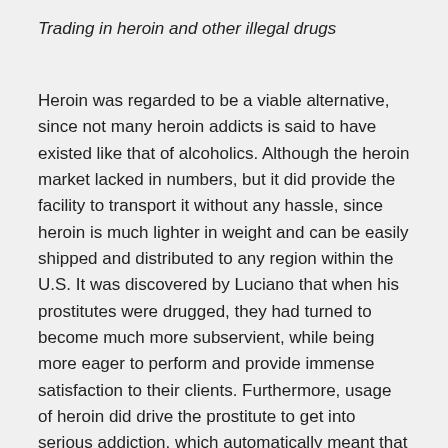Trading in heroin and other illegal drugs
Heroin was regarded to be a viable alternative, since not many heroin addicts is said to have existed like that of alcoholics. Although the heroin market lacked in numbers, but it did provide the facility to transport it without any hassle, since heroin is much lighter in weight and can be easily shipped and distributed to any region within the U.S. It was discovered by Luciano that when his prostitutes were drugged, they had turned to become much more subservient, while being more eager to perform and provide immense satisfaction to their clients. Furthermore, usage of heroin did drive the prostitute to get into serious addiction, which automatically meant that the Mafia can add them to their existing